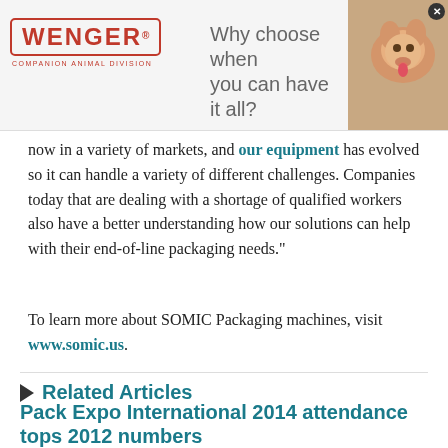[Figure (illustration): Wenger Companion Animal Division advertisement banner with logo, tagline 'Why choose when you can have it all?' and a photo of a dog]
now in a variety of markets, and our equipment has evolved so it can handle a variety of different challenges. Companies today that are dealing with a shortage of qualified workers also have a better understanding how our solutions can help with their end-of-line packaging needs."
To learn more about SOMIC Packaging machines, visit www.somic.us.
Related Articles
Pack Expo International 2014 attendance tops 2012 numbers
NOVEMBER 17, 2014